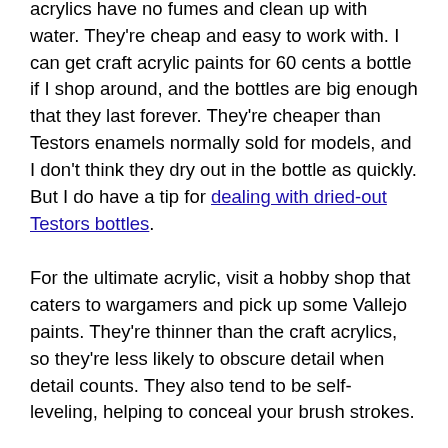acrylics have no fumes and clean up with water. They're cheap and easy to work with. I can get craft acrylic paints for 60 cents a bottle if I shop around, and the bottles are big enough that they last forever. They're cheaper than Testors enamels normally sold for models, and I don't think they dry out in the bottle as quickly. But I do have a tip for dealing with dried-out Testors bottles.
For the ultimate acrylic, visit a hobby shop that caters to wargamers and pick up some Vallejo paints. They're thinner than the craft acrylics, so they're less likely to obscure detail when detail counts. They also tend to be self-leveling, helping to conceal your brush strokes.
I prefer to spray rather than brush whenever I can, because then I don't cover up as much detail, and I don't get brush strokes. I can spray a light coat followed by a second light coat and get nice, even coverage. You can get sprays intended for